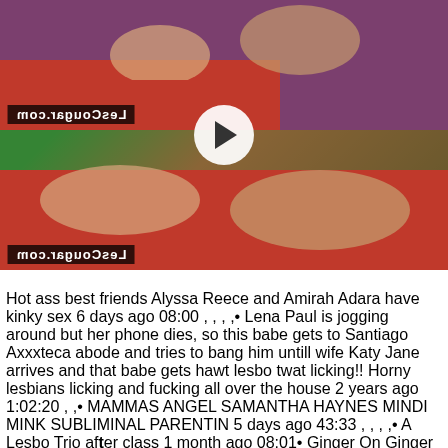[Figure (screenshot): Video thumbnail showing two people on a red couch. The top half and bottom half are separated by a play button overlay. Both halves have a mirrored watermark reading 'LesCougar.com' in the lower-left corner.]
Hot ass best friends Alyssa Reece and Amirah Adara have kinky sex 6 days ago 08:00 , , , ,• Lena Paul is jogging around but her phone dies, so this babe gets to Santiago Axxxteca abode and tries to bang him untill wife Katy Jane arrives and that babe gets hawt lesbo twat licking!! Horny lesbians licking and fucking all over the house 2 years ago 1:02:20 , ,• MAMMAS ANGEL SAMANTHA HAYNES MINDI MINK SUBLIMINAL PARENTIN 5 days ago 43:33 , , , ,• A Lesbo Trio after class 1 month ago 08:01• Ginger On Ginger Lesbian Loving 2 days ago 25:06 ,• See those stripped lesbo angels eat every others cunt